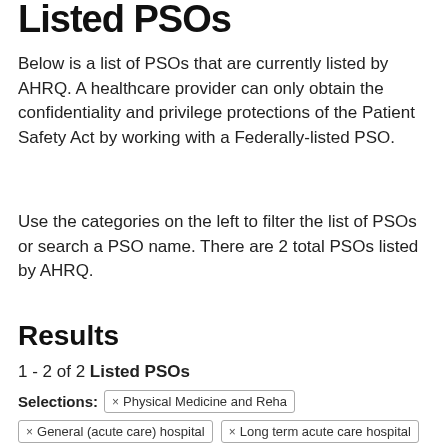Listed PSOs
Below is a list of PSOs that are currently listed by AHRQ. A healthcare provider can only obtain the confidentiality and privilege protections of the Patient Safety Act by working with a Federally-listed PSO.
Use the categories on the left to filter the list of PSOs or search a PSO name. There are 2 total PSOs listed by AHRQ.
Results
1 - 2 of 2 Listed PSOs
Selections: × Physical Medicine and Reha   × General (acute care) hospital   × Long term acute care hospital